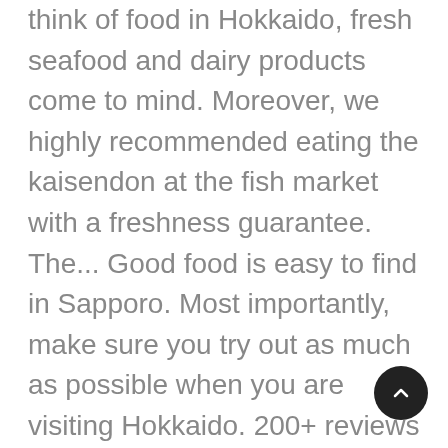think of food in Hokkaido, fresh seafood and dairy products come to mind. Moreover, we highly recommended eating the kaisendon at the fish market with a freshness guarantee. The... Good food is easy to find in Sapporo. Most importantly, make sure you try out as much as possible when you are visiting Hokkaido. 200+ reviews View Foodpanda - Local Food Delivery. You can simply select your choices of meats, seafoods, vegetables and watch the chef create your fresh and succulent dish right before your eyes. Previous. This time, We are banned eating in a dining. 595. Hokkaido Yakiniku 100g beef, rice, salad, kimchi, egg, side dish. Because of this, Hokkaido's residents began eating the meat from sheep that they sheared for their wool.